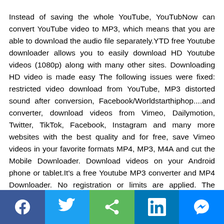Instead of saving the whole YouTube, YouTubNow can convert YouTube video to MP3, which means that you are able to download the audio file separately.YTD free Youtube downloader allows you to easily download HD Youtube videos (1080p) along with many other sites. Downloading HD video is made easy The following issues were fixed: restricted video download from YouTube, MP3 distorted sound after conversion, Facebook/Worldstarthiphop....and converter, download videos from Vimeo, Dailymotion, Twitter, TikTok, Facebook, Instagram and many more websites with the best quality and for free, save Vimeo videos in your favorite formats MP4, MP3, M4A and cut the Mobile Downloader. Download videos on your Android phone or tablet.It's a free Youtube MP3 converter and MP4 Downloader. No registration or limits are applied. The Mpgun application is an easy, fast and free online youtube Converter without any registration or limits to download videos from Youtube with the possibility to convert
[Figure (other): Social sharing toolbar with Facebook, Twitter, Share, LinkedIn, and Messenger buttons]